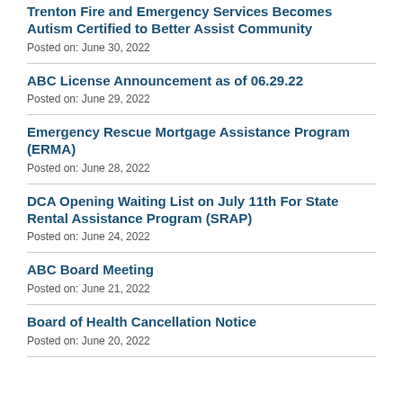Trenton Fire and Emergency Services Becomes Autism Certified to Better Assist Community
Posted on: June 30, 2022
ABC License Announcement as of 06.29.22
Posted on: June 29, 2022
Emergency Rescue Mortgage Assistance Program (ERMA)
Posted on: June 28, 2022
DCA Opening Waiting List on July 11th For State Rental Assistance Program (SRAP)
Posted on: June 24, 2022
ABC Board Meeting
Posted on: June 21, 2022
Board of Health Cancellation Notice
Posted on: June 20, 2022